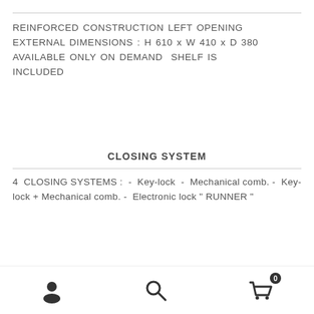REINFORCED CONSTRUCTION LEFT OPENING EXTERNAL DIMENSIONS : H 610 x W 410 x D 380 AVAILABLE ONLY ON DEMAND SHELF IS INCLUDED
CLOSING SYSTEM
4 CLOSING SYSTEMS : - Key-lock - Mechanical comb. - Key-lock + Mechanical comb. - Electronic lock " RUNNER "
[Figure (photo): Top-down view of a white/grey free-standing safe partially visible at bottom of page]
User icon | Search icon | Cart icon with badge 0